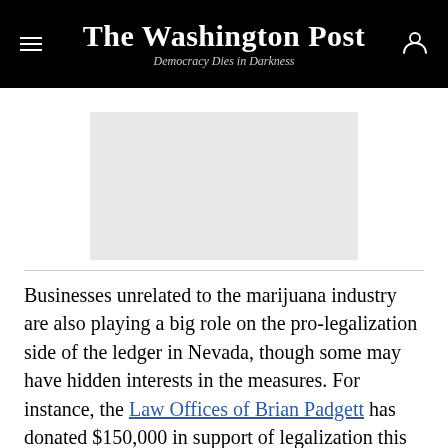The Washington Post
Democracy Dies in Darkness
[Figure (other): Advertisement placeholder area (gray rectangle)]
Businesses unrelated to the marijuana industry are also playing a big role on the pro-legalization side of the ledger in Nevada, though some may have hidden interests in the measures. For instance, the Law Offices of Brian Padgett has donated $150,000 in support of legalization this year; though the law firm focuses on landowner rights, Padget himself is an investor in CW Nevada, a dispensary offering marijuana-based